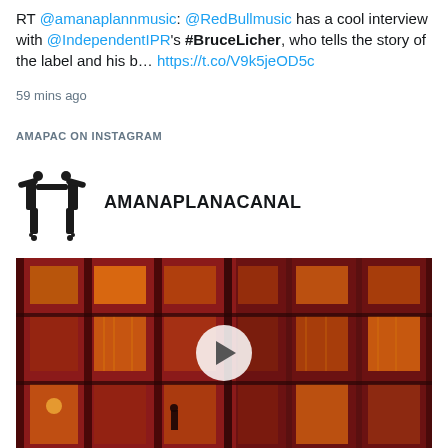@amanaplannmusic @RedBullmusic has a cool interview with @IndependentIPR's #BruceLicher, who tells the story of the label and his b… https://t.co/V9k5jeOD5c
59 mins ago
AMAPAC ON INSTAGRAM
AMANAPLANACANAL
[Figure (photo): Nighttime photo of a red-lit building facade with glowing orange/yellow windows and a silhouette of a person visible in one window, with a white play button overlay indicating a video post]